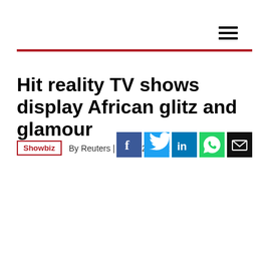☰
Hit reality TV shows display African glitz and glamour
Showbiz  By Reuters | May. 22, 2022
[Figure (infographic): Social media share icons: Facebook (blue), Twitter (blue), LinkedIn (blue), WhatsApp (green), Email (black)]